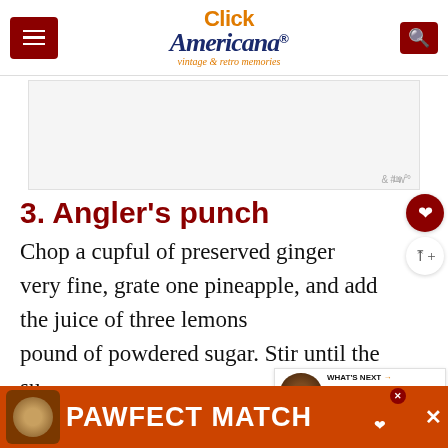Click Americana® vintage & retro memories
[Figure (other): Advertisement placeholder banner]
3. Angler's punch
Chop a cupful of preserved ginger very fine, grate one pineapple, and add the juice of three lemons pound of powdered sugar. Stir until the su...
[Figure (other): WHAT'S NEXT: Want old-fashioned... thumbnail widget]
[Figure (other): PAWFECT MATCH bottom advertisement banner with cat image]